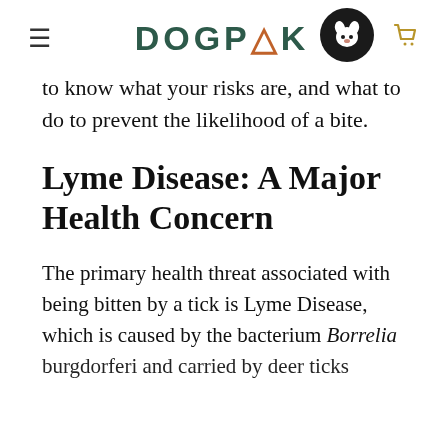DOGPAK
to know what your risks are, and what to do to prevent the likelihood of a bite.
Lyme Disease: A Major Health Concern
The primary health threat associated with being bitten by a tick is Lyme Disease, which is caused by the bacterium Borrelia burgdorferi and carried by deer ticks